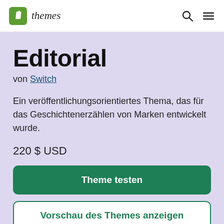Shopify themes
Editorial
von Switch
Ein veröffentlichungsorientiertes Thema, das für das Geschichtenerzählen von Marken entwickelt wurde.
220 $ USD
Theme testen
Vorschau des Themes anzeigen